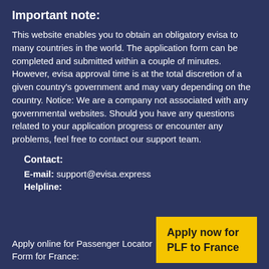Important note:
This website enables you to obtain an obligatory evisa to many countries in the world. The application form can be completed and submitted within a couple of minutes. However, evisa approval time is at the total discretion of a given country's government and may vary depending on the country. Notice: We are a company not associated with any governmental websites. Should you have any questions related to your application progress or encounter any problems, feel free to contact our support team.
Contact:
E-mail: support@evisa.express
Helpline:
Apply online for Passenger Locator Form for France:
Apply now for PLF to France